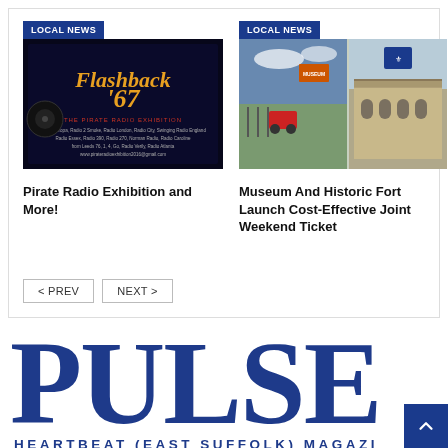[Figure (screenshot): LOCAL NEWS badge and Flashback '67 Pirate Radio Exhibition billboard image (dark background with orange/red text)]
Pirate Radio Exhibition and More!
[Figure (photo): LOCAL NEWS badge and two photos: outdoor museum grounds with red machinery, and a historic fort building exterior]
Museum And Historic Fort Launch Cost-Effective Joint Weekend Ticket
< PREV   NEXT >
PULSE
HEARTBEAT (EAST SUFFOLK) MAGAZI